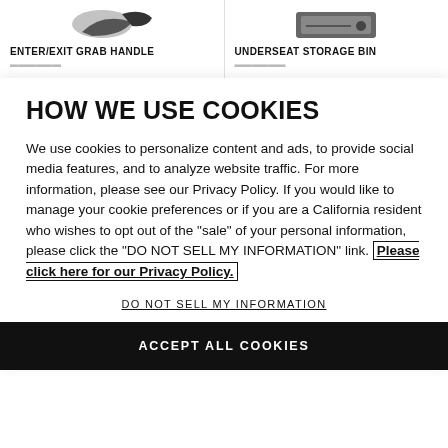[Figure (photo): Partial product image of Enter/Exit Grab Handle accessory]
ENTER/EXIT GRAB HANDLE
[Figure (photo): Partial product image of Underseat Storage Bin accessory]
UNDERSEAT STORAGE BIN
HOW WE USE COOKIES
We use cookies to personalize content and ads, to provide social media features, and to analyze website traffic. For more information, please see our Privacy Policy. If you would like to manage your cookie preferences or if you are a California resident who wishes to opt out of the "sale" of your personal information, please click the "DO NOT SELL MY INFORMATION" link. Please click here for our Privacy Policy.
DO NOT SELL MY INFORMATION
ACCEPT ALL COOKIES